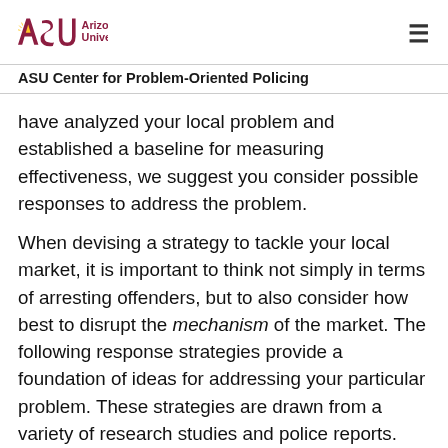ASU Arizona State University — ASU Center for Problem-Oriented Policing
have analyzed your local problem and established a baseline for measuring effectiveness, we suggest you consider possible responses to address the problem.
When devising a strategy to tackle your local market, it is important to think not simply in terms of arresting offenders, but to also consider how best to disrupt the mechanism of the market. The following response strategies provide a foundation of ideas for addressing your particular problem. These strategies are drawn from a variety of research studies and police reports. Several of these strategies may apply to your community's problem. It is critical that you tailor responses to local circumstances, and that you can justify each response based on reliable analysis. In most cases, an effective strategy will involve implementing